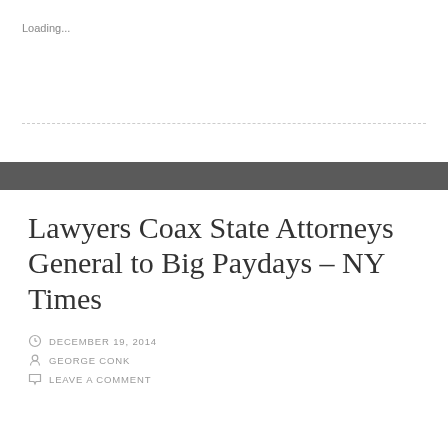Loading...
Lawyers Coax State Attorneys General to Big Paydays – NY Times
DECEMBER 19, 2014
GEORGE CONK
LEAVE A COMMENT